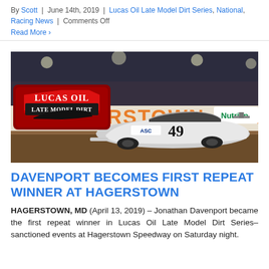By Scott | June 14th, 2019 | Lucas Oil Late Model Dirt Series, National, Racing News | Comments Off
Read More >
[Figure (photo): Race car #49 with ASC and Nutrien sponsorship racing at Hagerstown Speedway at night, with Lucas Oil Late Model Dirt Series logo overlay and 'HAGERSTOWN' text on wall behind]
DAVENPORT BECOMES FIRST REPEAT WINNER AT HAGERSTOWN
HAGERSTOWN, MD (April 13, 2019) – Jonathan Davenport became the first repeat winner in Lucas Oil Late Model Dirt Series-sanctioned events at Hagerstown Speedway on Saturday night.